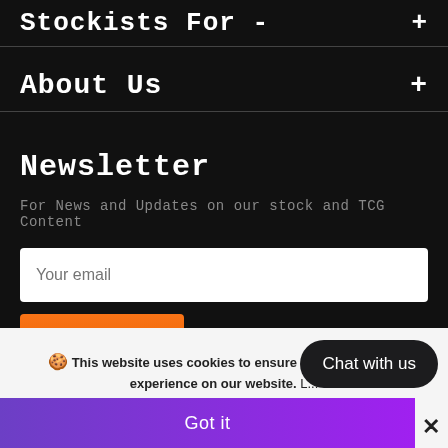Stockists For -
About Us
Newsletter
For News and Updates on our stock and TCG Content
Your email
Subscribe
🍪 This website uses cookies to ensure you get the best experience on our website. L...
Got it
Chat with us